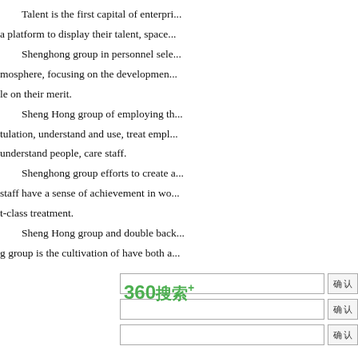Talent is the first capital of enterprise. We provide employees a platform to display their talent, space to develop their career. Shenghong group in personnel selection to create a good at-mosphere, focusing on the development of talented people, use peo-ple on their merit. Sheng Hong group of employing the people of con-tulation, understand and use, treat employees with sincerity, and understand people, care staff. Shenghong group efforts to create a good working environment, staff have a sense of achievement in work, get the best and firs-t-class treatment. Sheng Hong group and double back..., Shen-g group is the cultivation of have both a...
[Figure (screenshot): UI elements: three rows each with a text input field and a button with Chinese characters, and a 360搜索+ logo in green on the left]